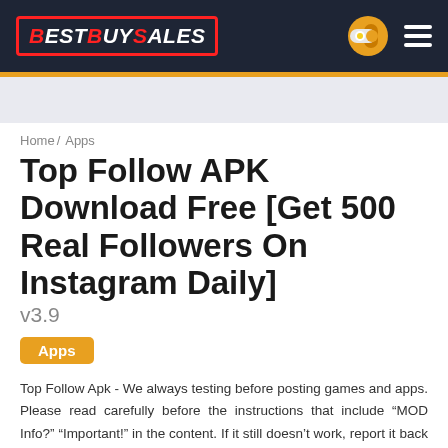BestBuySales
Home / Apps
Top Follow APK Download Free [Get 500 Real Followers On Instagram Daily]
v3.9
Apps
Top Follow Apk - We always testing before posting games and apps. Please read carefully before the instructions that include “MOD Info?” “Important!” in the content. If it still doesn’t work, report it back to us